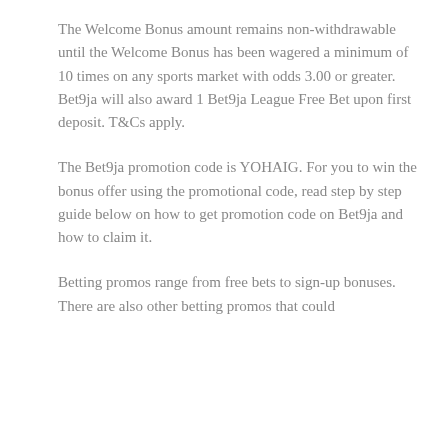The Welcome Bonus amount remains non-withdrawable until the Welcome Bonus has been wagered a minimum of 10 times on any sports market with odds 3.00 or greater. Bet9ja will also award 1 Bet9ja League Free Bet upon first deposit. T&Cs apply.
The Bet9ja promotion code is YOHAIG. For you to win the bonus offer using the promotional code, read step by step guide below on how to get promotion code on Bet9ja and how to claim it.
Betting promos range from free bets to sign-up bonuses. There are also other betting promos that could